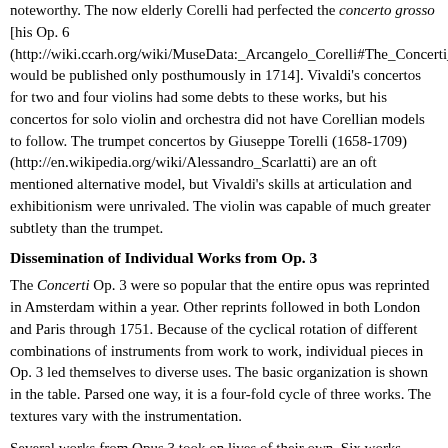noteworthy. The now elderly Corelli had perfected the concerto grosso [his Op. 6 (http://wiki.ccarh.org/wiki/MuseData:_Arcangelo_Corelli#The_Concerti_grossi_Op._6) would be published only posthumously in 1714]. Vivaldi's concertos for two and four violins had some debts to these works, but his concertos for solo violin and orchestra did not have Corellian models to follow. The trumpet concertos by Giuseppe Torelli (1658-1709) (http://en.wikipedia.org/wiki/Alessandro_Scarlatti) are an oft mentioned alternative model, but Vivaldi's skills at articulation and exhibitionism were unrivaled. The violin was capable of much greater subtlety than the trumpet.
Dissemination of Individual Works from Op. 3
The Concerti Op. 3 were so popular that the entire opus was reprinted in Amsterdam within a year. Other reprints followed in both London and Paris through 1751. Because of the cyclical rotation of different combinations of instruments from work to work, individual pieces in Op. 3 led themselves to diverse uses. The basic organization is shown in the table. Parsed one way, it is a four-fold cycle of three works. The textures vary with the instrumentation.
Several works from Opus 3 took on lives of their own. Six works (indicated by an asterisk*) were transcribed by J. S. Bach, and there are faint clues that Bach may have transcribed them all. Bach was